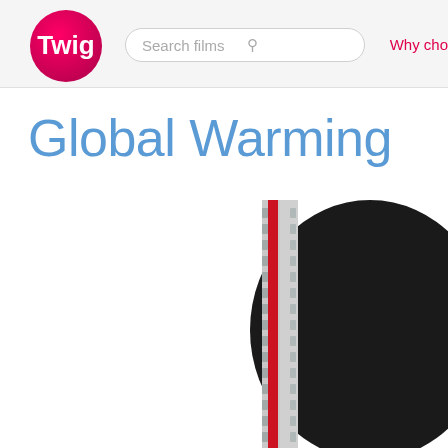[Figure (logo): Twig logo - pink/magenta circle with white Twig text]
Search films   Why cho
Global Warming
[Figure (photo): Close-up of a thermometer with red mercury column, dark globular object in background - representing global warming concept]